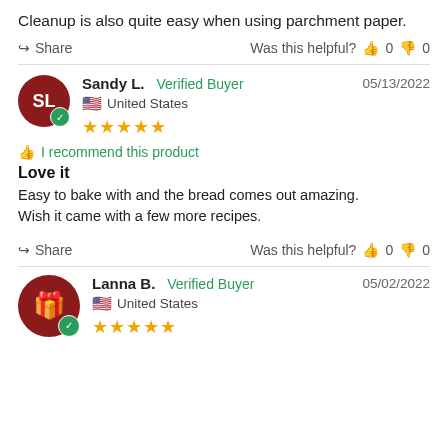Cleanup is also quite easy when using parchment paper.
Share  Was this helpful? 👍 0 👎 0
Sandy L. Verified Buyer  05/13/2022  United States  ★★★★★
I recommend this product
Love it
Easy to bake with and the bread comes out amazing. Wish it came with a few more recipes.
Share  Was this helpful? 👍 0 👎 0
Lanna B. Verified Buyer  05/02/2022  United States  ★★★★★